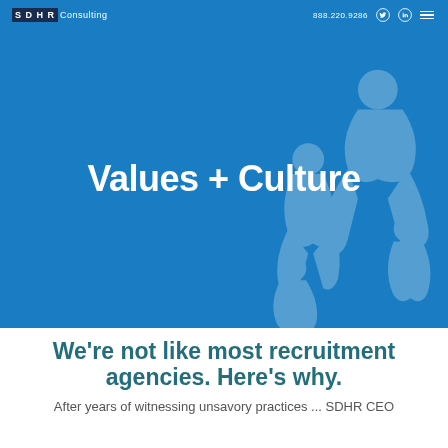SDHR Consulting  888.220.9286
Values + Culture
We’re not like most recruitment agencies. Here’s why.
After years of witnessing unsavory practices ... SDHR CEO